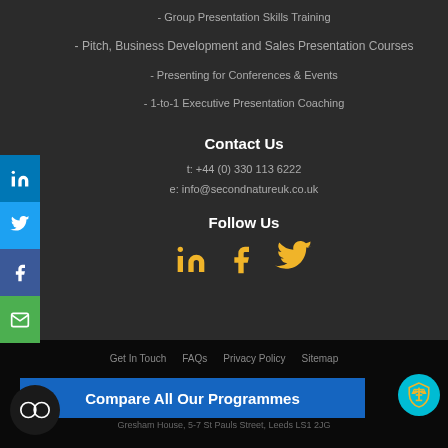- Group Presentation Skills Training
- Pitch, Business Development and Sales Presentation Courses
- Presenting for Conferences & Events
- 1-to-1 Executive Presentation Coaching
Contact Us
t: +44 (0) 330 113 6222
e: info@secondnatureuk.co.uk
Follow Us
[Figure (infographic): Social media icons: LinkedIn, Facebook, Twitter in yellow/gold color]
Get In Touch   FAQs   Privacy Policy   Sitemap
Compare All Our Programmes
Gresham House, 5-7 St Pauls Street, Leeds LS1 2JG